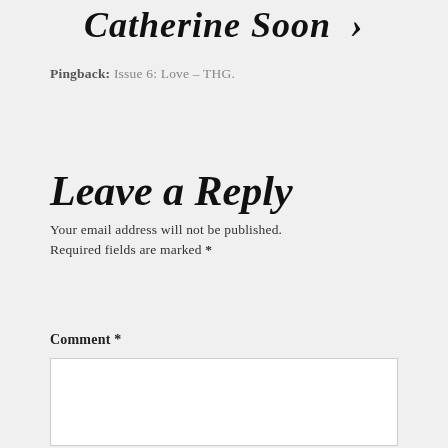Catherine Soon >
Pingback: Issue 6: Love – THG.
Leave a Reply
Your email address will not be published.
Required fields are marked *
Comment *